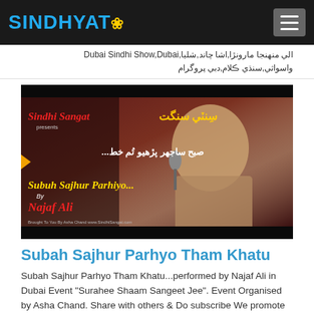SINDHYAT
الي منهنجا مارونڙا,اشا چاند,شليا,Dubai Sindhi Show,Dubai واسواثي,سنڌي ڪلام,دبي پروگرام
[Figure (photo): Video thumbnail showing a man singing into a microphone on stage. Text overlay reads 'Sindhi Sangat presents', 'Subuh Sajhur Parhiyo...', 'By Najaf Ali', 'Brought To You By Asha Chand www.SindhiSangat.com'. Urdu/Sindhi text visible.]
Subah Sajhur Parhyo Tham Khatu
Subah Sajhur Parhyo Tham Khatu...performed by Najaf Ali in Dubai Event "Surahee Shaam Sangeet Jee". Event Organised by Asha Chand. Share with others & Do subscribe We promote